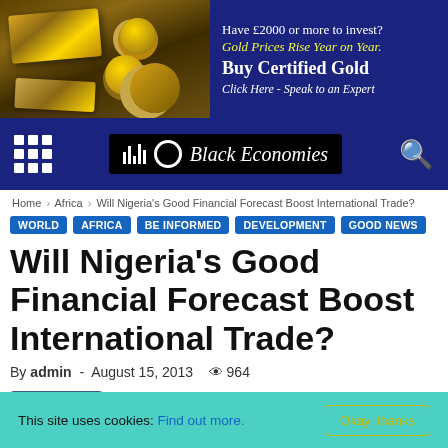[Figure (infographic): Advertisement banner for certified gold investment. Left side shows gold bars and coins on dark background. Right side has dark blue background with text: 'Have £2000 or more to invest? Gold Prices Rise Year on Year. Buy Certified Gold. Click Here - Speak to an Expert']
[Figure (logo): Black Economies website logo with navigation grid icon on left and search icon on right, on dark navy background]
Home › Africa › Will Nigeria's Good Financial Forecast Boost International Trade?
WORLD
AFRICA
BE INFORMED
DEVELOPMENT
GOOD NEWS
Will Nigeria's Good Financial Forecast Boost International Trade?
By admin - August 15, 2013  964
Like 0
This site uses cookies: Find out more.  Okay, thanks